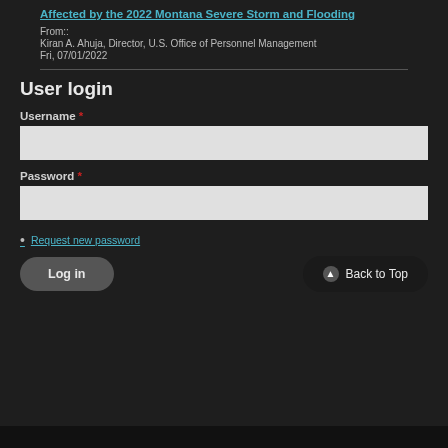Affected by the 2022 Montana Severe Storm and Flooding
From::
Kiran A. Ahuja, Director, U.S. Office of Personnel Management
Fri, 07/01/2022
User login
Username *
Password *
Request new password
Log in
Back to Top